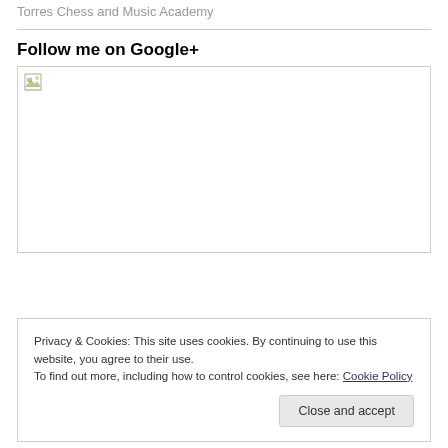Torres Chess and Music Academy
Follow me on Google+
[Figure (photo): Broken image placeholder for Google+ follow image]
Privacy & Cookies: This site uses cookies. By continuing to use this website, you agree to their use.
To find out more, including how to control cookies, see here: Cookie Policy
Close and accept